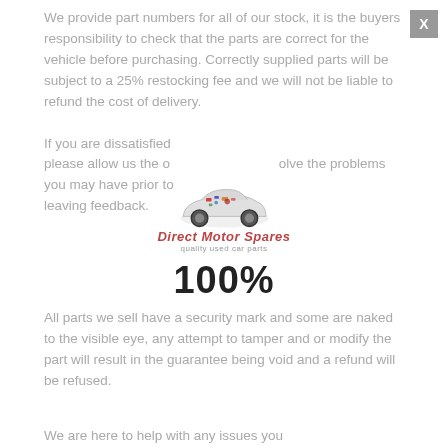We provide part numbers for all of our stock, it is the buyers responsibility to check that the parts are correct for the vehicle before purchasing. Correctly supplied parts will be subject to a 25% restocking fee and we will not be liable to refund the cost of delivery.
If you are dissatisfied please allow us the opportunity to resolve the problems you may have prior to leaving feedback.
[Figure (logo): Direct Motor Spares logo with a car illustration and 100% text below]
All parts we sell have a security mark and some are naked to the visible eye, any attempt to tamper and or modify the part will result in the guarantee being void and a refund will be refused.
We are here to help with any issues you